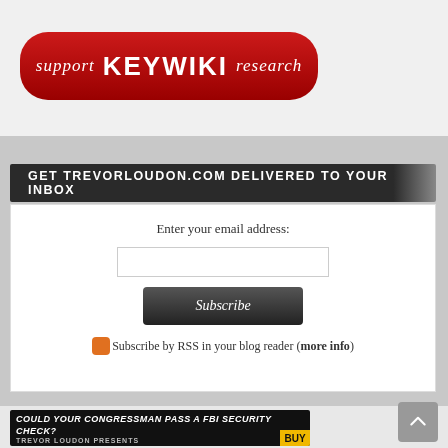[Figure (logo): KeyWiki support research banner — dark red rounded rectangle with italic serif 'support', bold uppercase 'KEYWIKI', italic serif 'research' in white text]
GET TREVORLOUDON.COM DELIVERED TO YOUR INBOX
Enter your email address:
Subscribe
Subscribe by RSS in your blog reader (more info)
[Figure (screenshot): Could your congressman pass a FBI security check? Trevor Loudon Presents — dark banner with faces and BUY label]